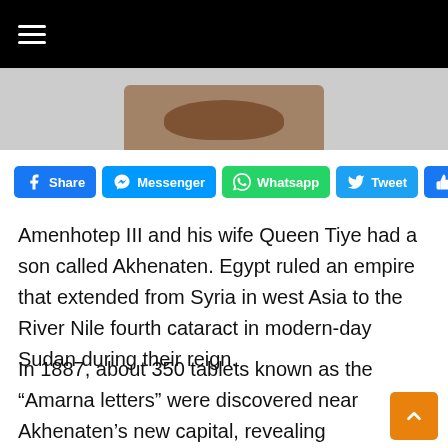[Figure (screenshot): Black navigation bar with hamburger menu icon at top, and a partial image of a brown/red artifact on grey background below]
[Figure (infographic): Social sharing buttons: Share (Facebook), Messenger, Whatsapp, Tweet, Like 11K]
Amenhotep III and his wife Queen Tiye had a son called Akhenaten. Egypt ruled an empire that extended from Syria in west Asia to the River Nile fourth cataract in modern-day Sudan during their reign.
In 1887, about 350 tablets known as the “Amarna letters” were discovered near Akhenaten’s new capital, revealing diplomatic correspondence between Akhenaten, his fellow kings in west Asia and vassals who owed the Egyptian king